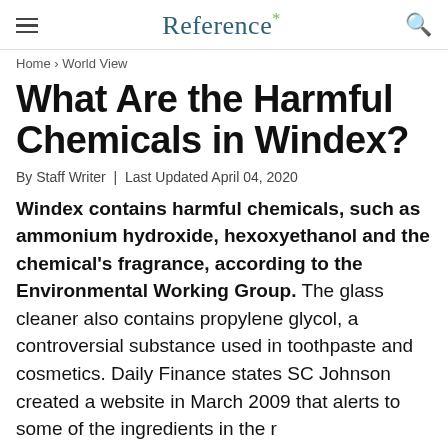Reference*
Home › World View
What Are the Harmful Chemicals in Windex?
By Staff Writer | Last Updated April 04, 2020
Windex contains harmful chemicals, such as ammonium hydroxide, hexoxyethanol and the chemical's fragrance, according to the Environmental Working Group. The glass cleaner also contains propylene glycol, a controversial substance used in toothpaste and cosmetics. Daily Finance states SC Johnson created a website in March 2009 that alerts to some of the ingredients in the...